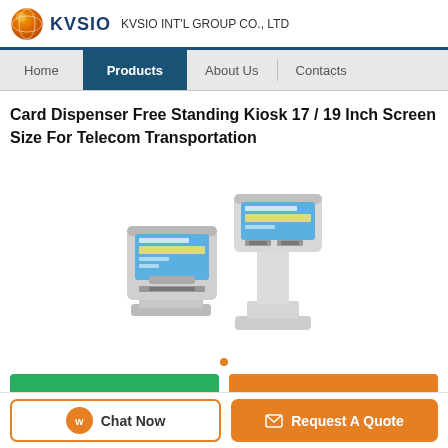KVSIO   KVSIO INT'L GROUP CO., LTD
Home | Products | About Us | Contacts
Card Dispenser Free Standing Kiosk 17 / 19 Inch Screen Size For Telecom Transportation
[Figure (illustration): Two self-service kiosk units — one wall-mounted tabletop model and one free-standing floor model — shown side by side in a product illustration. Both feature touchscreens with colorful interfaces and card dispenser slots. The units are silver/white in color.]
Chat Now   Request A Quote